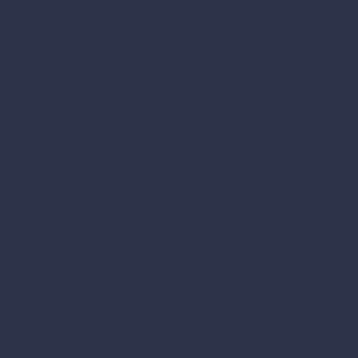[Figure (other): Solid dark navy/slate blue background filling the entire page with no visible text or other content elements.]